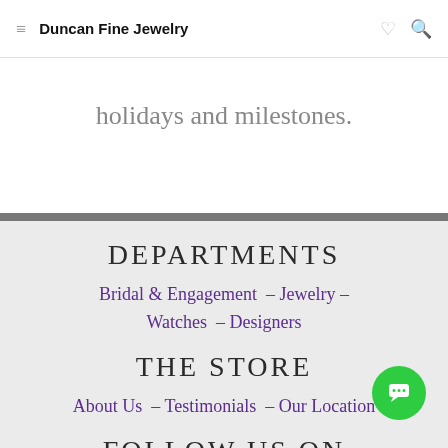Duncan Fine Jewelry
holidays and milestones.
DEPARTMENTS
Bridal & Engagement – Jewelry – Watches – Designers
THE STORE
About Us – Testimonials – Our Location
FOLLOW US ON